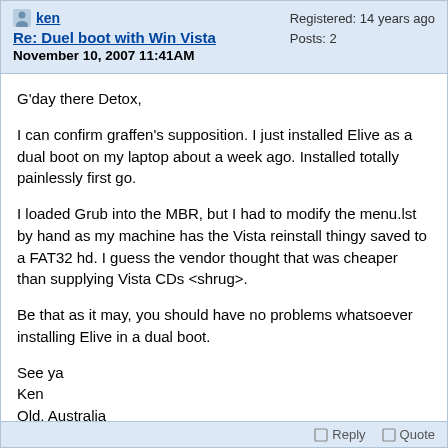ken
Re: Duel boot with Win Vista
November 10, 2007 11:41AM
Registered: 14 years ago
Posts: 2
G'day there Detox,

I can confirm graffen's supposition. I just installed Elive as a dual boot on my laptop about a week ago. Installed totally painlessly first go.

I loaded Grub into the MBR, but I had to modify the menu.lst by hand as my machine has the Vista reinstall thingy saved to a FAT32 hd. I guess the vendor thought that was cheaper than supplying Vista CDs <shrug>.

Be that as it may, you should have no problems whatsoever installing Elive in a dual boot.

See ya
Ken
Qld, Australia
Reply   Quote